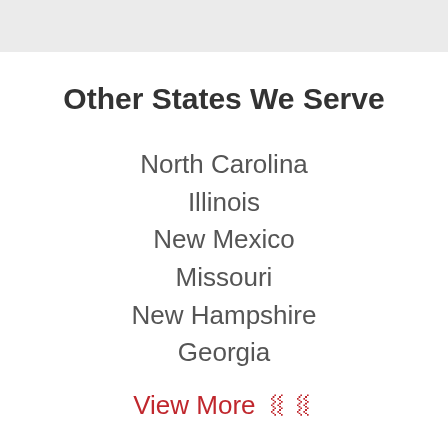Other States We Serve
North Carolina
Illinois
New Mexico
Missouri
New Hampshire
Georgia
View More ❯❯